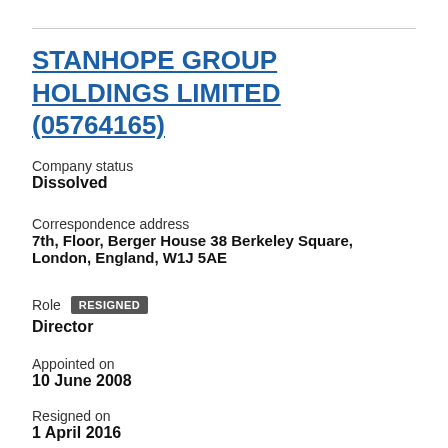STANHOPE GROUP HOLDINGS LIMITED (05764165)
Company status
Dissolved
Correspondence address
7th, Floor, Berger House 38 Berkeley Square, London, England, W1J 5AE
Role  RESIGNED
Director
Appointed on
10 June 2008
Resigned on
1 April 2016